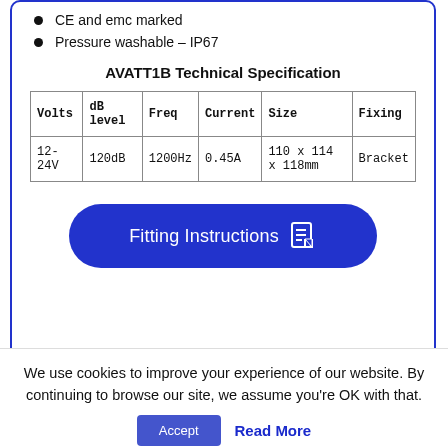CE and emc marked
Pressure washable – IP67
AVATT1B Technical Specification
| Volts | dB level | Freq | Current | Size | Fixing |
| --- | --- | --- | --- | --- | --- |
| 12-24V | 120dB | 1200Hz | 0.45A | 110 x 114 x 118mm | Bracket |
[Figure (other): Blue rounded button labelled 'Fitting Instructions' with a PDF document icon]
We use cookies to improve your experience of our website. By continuing to browse our site, we assume you're OK with that.
Accept
Read More